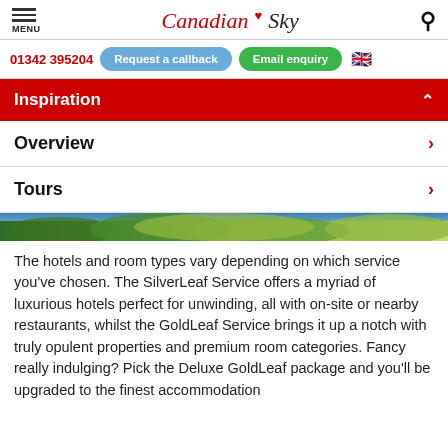MENU | Canadian Sky | Search
01342 395204 | Request a callback | Email enquiry
Inspiration
Overview
Tours
[Figure (photo): Aerial or landscape photo showing green forest/trees canopy]
The hotels and room types vary depending on which service you've chosen. The SilverLeaf Service offers a myriad of luxurious hotels perfect for unwinding, all with on-site or nearby restaurants, whilst the GoldLeaf Service brings it up a notch with truly opulent properties and premium room categories. Fancy really indulging? Pick the Deluxe GoldLeaf package and you'll be upgraded to the finest accommodation